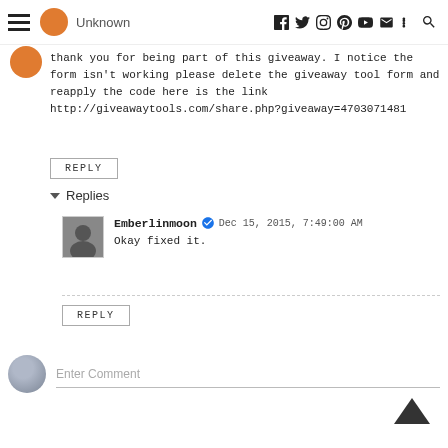Unknown | social media icons bar
thank you for being part of this giveaway. I notice the form isn't working please delete the giveaway tool form and reapply the code here is the link http://giveawaytools.com/share.php?giveaway=4703071481
REPLY
Replies
Emberlinmoon  Dec 15, 2015, 7:49:00 AM
Okay fixed it.
REPLY
Enter Comment